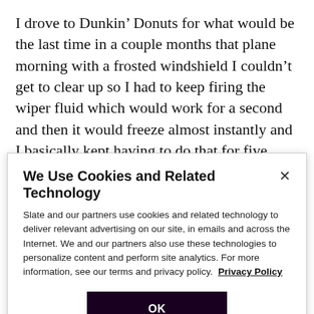I drove to Dunkin' Donuts for what would be the last time in a couple months that plane morning with a frosted windshield I couldn't get to clear up so I had to keep firing the wiper fluid which would work for a second and then it would freeze almost instantly and I basically kept having to do that for five minutes until I got there. I thought about dying in a plane crash and so naturally I thought about a song by Albert Hammond whom I had weirdly gotten really into around then and it
We Use Cookies and Related Technology
Slate and our partners use cookies and related technology to deliver relevant advertising on our site, in emails and across the Internet. We and our partners also use these technologies to personalize content and perform site analytics. For more information, see our terms and privacy policy. Privacy Policy
OK